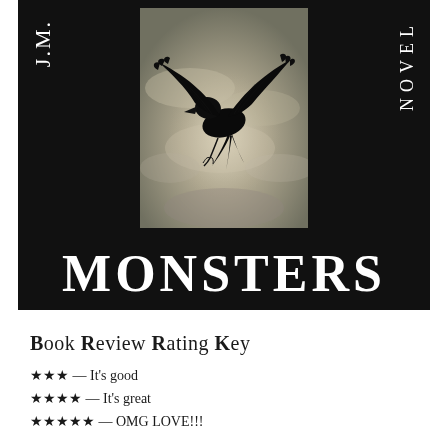[Figure (illustration): Book cover for 'Monsters' — dark black background with vertical text 'J.M.' on the left side and 'NOVEL' on the right side, a center rectangular image of a black raven in flight against a misty gray sky, and large white serif text 'MONSTERS' across the bottom.]
Book Review Rating Key
★★★ — It's good
★★★★ — It's great
★★★★★ — OMG LOVE!!!